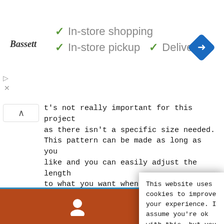[Figure (screenshot): Bassett store ad banner with checkmarks for In-store shopping, In-store pickup, and Delivery, plus a navigation diamond icon]
t's not really important for this project as there isn't a specific size needed. This pattern can be made as long as you like and you can easily adjust the length to what you want when you're making it. Each fan adds approximately 25/32" or 2 cm. Genera...
We noticed s... updated our pr... shopping conve... dollar instead... Dismiss
This website uses cookies to improve your experience. I assume you're ok with this, but you can opt-out if you wish. Cookie settings
ACCEPT